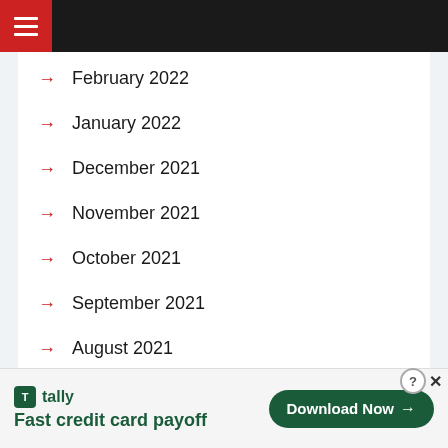Navigation menu header bar
February 2022
January 2022
December 2021
November 2021
October 2021
September 2021
August 2021
July 2021
June 2021
[Figure (screenshot): Tally app advertisement banner: 'Fast credit card payoff' with a green Download Now button]